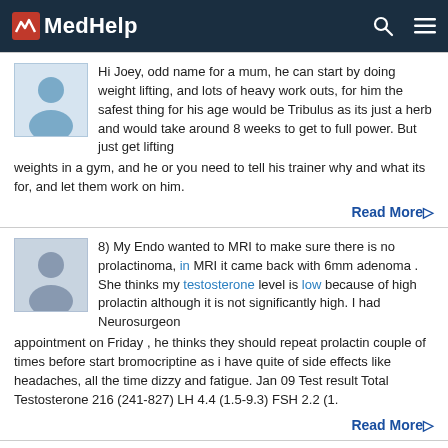MedHelp
Hi Joey, odd name for a mum, he can start by doing weight lifting, and lots of heavy work outs, for him the safest thing for his age would be Tribulus as its just a herb and would take around 8 weeks to get to full power. But just get lifting weights in a gym, and he or you need to tell his trainer why and what its for, and let them work on him.
Read More
8) My Endo wanted to MRI to make sure there is no prolactinoma, in MRI it came back with 6mm adenoma . She thinks my testosterone level is low because of high prolactin although it is not significantly high. I had Neurosurgeon appointment on Friday , he thinks they should repeat prolactin couple of times before start bromocriptine as i have quite of side effects like headaches, all the time dizzy and fatigue. Jan 09 Test result Total Testosterone 216 (241-827) LH 4.4 (1.5-9.3) FSH 2.2 (1.
Read More
The concern with Testosterone patches, gels, and shots is that one may ultimately be forced to remain on T.